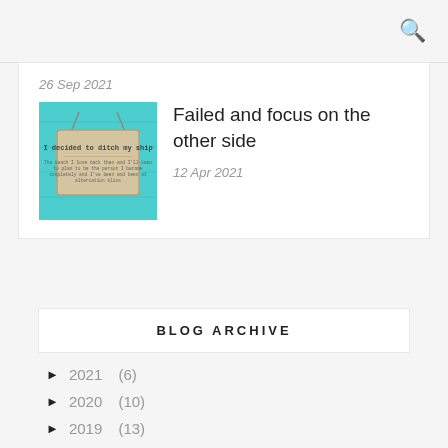🔍
26 Sep 2021
[Figure (photo): Blog post thumbnail showing a wooden sign on a turquoise/teal painted wall reading 'I decided to ditch my ship' with smaller text below]
Failed and focus on the other side
12 Apr 2021
BLOG ARCHIVE
► 2021 (6)
► 2020 (10)
► 2019 (13)
► 2018 (60)
► 2017 (42)
► 2016 (34)